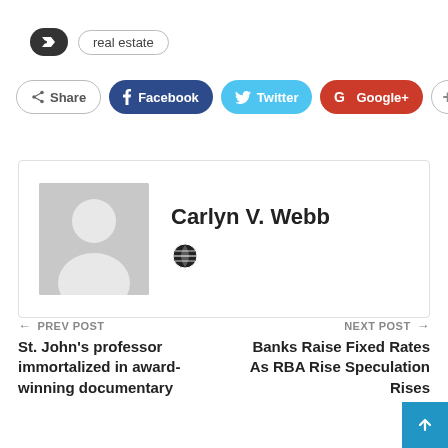real estate
[Figure (infographic): Social share buttons: Share, Facebook, Twitter, Google+, plus icon]
[Figure (infographic): Author card with avatar placeholder and name Carlyn V. Webb with globe icon]
Carlyn V. Webb
← PREV POST
St. John's professor immortalized in award-winning documentary
NEXT POST →
Banks Raise Fixed Rates As RBA Rise Speculation Rises